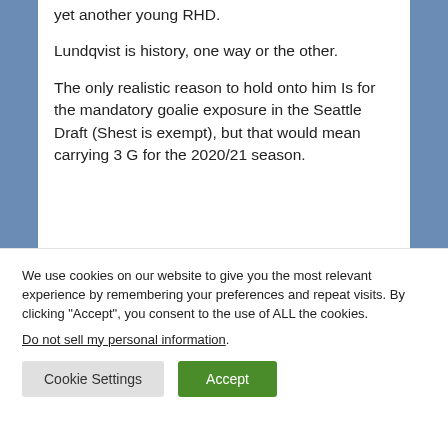yet another young RHD.
Lundqvist is history, one way or the other.
The only realistic reason to hold onto him Is for the mandatory goalie exposure in the Seattle Draft (Shest is exempt), but that would mean carrying 3 G for the 2020/21 season.
We use cookies on our website to give you the most relevant experience by remembering your preferences and repeat visits. By clicking “Accept”, you consent to the use of ALL the cookies.
Do not sell my personal information.
Cookie Settings
Accept